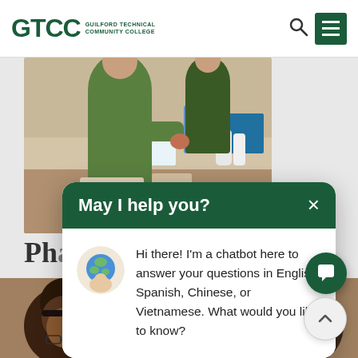GTCC Guilford Technical Community College
[Figure (screenshot): GTCC website screenshot showing a laboratory scene photo with students working, a chatbot popup dialog saying 'May I help you?' with a message 'Hi there! I'm a chatbot here to answer your questions in English, Spanish, Chinese, or Vietnamese. What would you like to know?', and a second photo showing two people in what appears to be a healthcare setting.]
May I help you?
Hi there! I'm a chatbot here to answer your questions in English, Spanish, Chinese, or Vietnamese. What would you like to know?